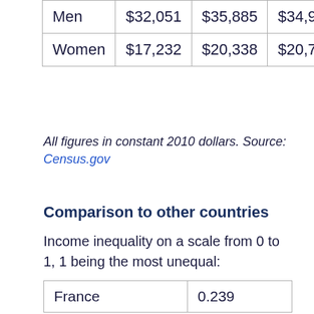|  | Col1 | Col2 | Col3 | Col4 |
| --- | --- | --- | --- | --- |
| Men | $32,051 | $35,885 | $34,929 | $32,137 |
| Women | $17,232 | $20,338 | $20,747 | $20,831 |
All figures in constant 2010 dollars. Source: Census.gov
Comparison to other countries
Income inequality on a scale from 0 to 1, 1 being the most unequal:
| Country | Value |
| --- | --- |
| France | 0.239 |